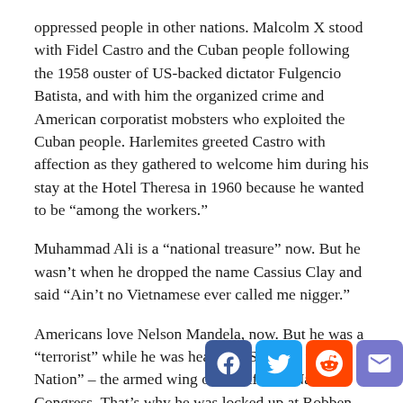oppressed people in other nations. Malcolm X stood with Fidel Castro and the Cuban people following the 1958 ouster of US-backed dictator Fulgencio Batista, and with him the organized crime and American corporatist mobsters who exploited the Cuban people. Harlemites greeted Castro with affection as they gathered to welcome him during his stay at the Hotel Theresa in 1960 because he wanted to be “among the workers.”
Muhammad Ali is a “national treasure” now. But he wasn’t when he dropped the name Cassius Clay and said “Ain’t no Vietnamese ever called me nigger.”
Americans love Nelson Mandela, now. But he was a “terrorist” while he was heading “Spear of the Nation” – the armed wing of the African National Congress. That’s why he was locked up at Robben Island. Mandela’s name was only recently – during the 2nd part of the Bush Administration – removed from...